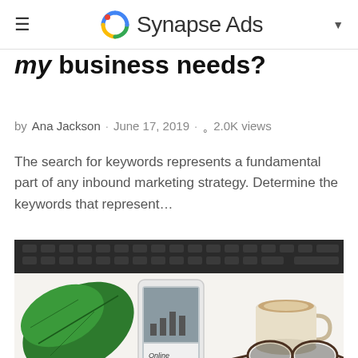Synapse Ads
my business needs?
by Ana Jackson · June 17, 2019 · 2.0K views
The search for keywords represents a fundamental part of any inbound marketing strategy. Determine the keywords that represent...
[Figure (photo): Flat lay photo of a smartphone showing online marketing content, tropical leaf, coffee cup, and eyeglasses on a white desk with keyboard in background]